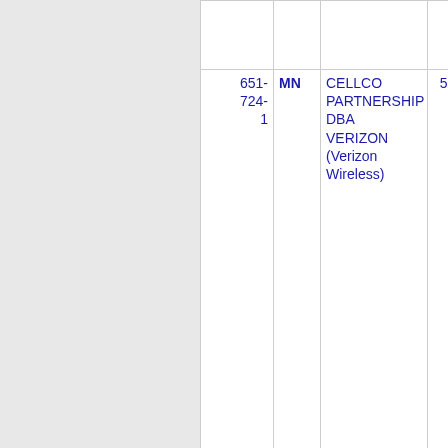| Phone | State | Company | Code | Area |
| --- | --- | --- | --- | --- |
|  |  |  |  |  |
| 651-724-1 | MN | CELLCO PARTNERSHIP DBA VERIZON (Verizon Wireless) | 5816 | TWIN... |
| 651-724-2 | MN | CELLCO PARTNERSHIP DBA VERIZON (Verizon Wireless) | 5816 | TWIN... |